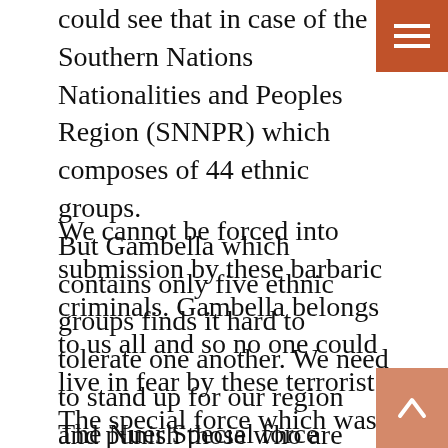could see that in case of the Southern Nations Nationalities and Peoples Region (SNNPR) which composes of 44 ethnic groups. But Gambella which contains only five ethnic groups finds it hard to tolerate one another. We need to stand up for our region and punish those who are causing us enormous pain by bringing them to justice.
We cannot be forced into submission by these barbaric criminals. Gambella belongs to us all and so no one could live in fear by these terrorist. The special force which was established ostensively to oversee situations like these needs to be revamped and placed on hotspots.
The Nuer Special force personal would be held